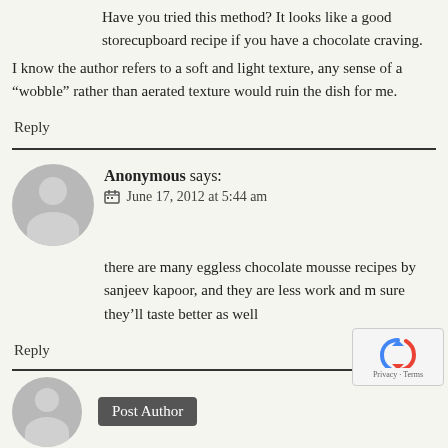Have you tried this method? It looks like a good storecupboard recipe if you have a chocolate craving.
I know the author refers to a soft and light texture, any sense of a “wobble” rather than aerated texture would ruin the dish for me.
Reply
Anonymous says:
June 17, 2012 at 5:44 am
there are many eggless chocolate mousse recipes by sanjeev kapoor, and they are less work and m sure they’ll taste better as well
Reply